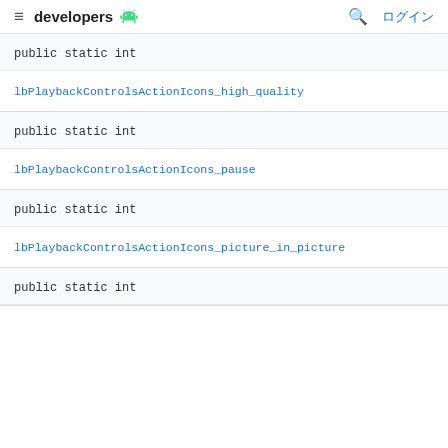developers [android logo] | [search] ログイン
public static int
lbPlaybackControlsActionIcons_high_quality
public static int
lbPlaybackControlsActionIcons_pause
public static int
lbPlaybackControlsActionIcons_picture_in_picture
public static int